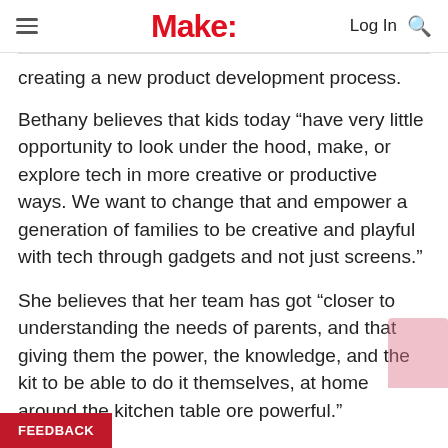Make:
creating a new product development process.
Bethany believes that kids today “have very little opportunity to look under the hood, make, or explore tech in more creative or productive ways. We want to change that and empower a generation of families to be creative and playful with tech through gadgets and not just screens.”
She believes that her team has got “closer to understanding the needs of parents, and that giving them the power, the knowledge, and the kit to be able to do it themselves, at home around the kitchen table ore powerful.”